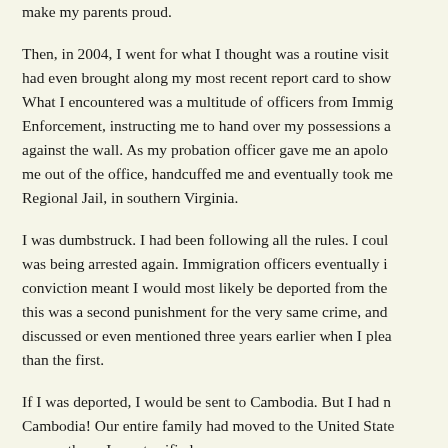make my parents proud.

Then, in 2004, I went for what I thought was a routine visit had even brought along my most recent report card to show What I encountered was a multitude of officers from Immig Enforcement, instructing me to hand over my possessions a against the wall. As my probation officer gave me an apolo me out of the office, handcuffed me and eventually took me Regional Jail, in southern Virginia.

I was dumbstruck. I had been following all the rules. I coul was being arrested again. Immigration officers eventually i conviction meant I would most likely be deported from the this was a second punishment for the very same crime, and discussed or even mentioned three years earlier when I plea than the first.

If I was deported, I would be sent to Cambodia. But I had n Cambodia! Our entire family had moved to the United State no one there. I was terrified.

I was held in a detention center for nearly nine months befo the supervision of the immigration agency. I returned once